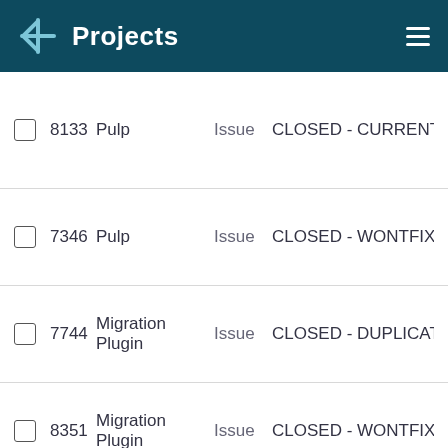Projects
8133  Pulp  Issue  CLOSED - CURRENTRELEASE
7346  Pulp  Issue  CLOSED - WONTFIX
7744  Migration Plugin  Issue  CLOSED - DUPLICATE
8351  Migration Plugin  Issue  CLOSED - WONTFIX